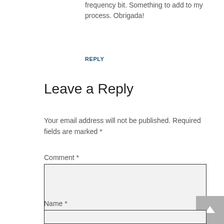frequency bit. Something to add to my process. Obrigada!
REPLY
Leave a Reply
Your email address will not be published. Required fields are marked * Comment *
[Figure (other): Comment text area input box (empty, light gray background)]
[Figure (other): Scroll to top button (gray square with white upward arrow)]
Name *
[Figure (other): Name text input box (empty, light gray background)]